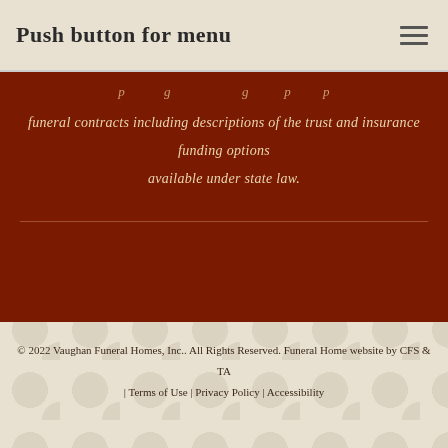Push button for menu
funeral contracts including descriptions of the trust and insurance funding options available under state law.
© 2022 Vaughan Funeral Homes, Inc.. All Rights Reserved. Funeral Home website by CFS & TA | Terms of Use | Privacy Policy | Accessibility